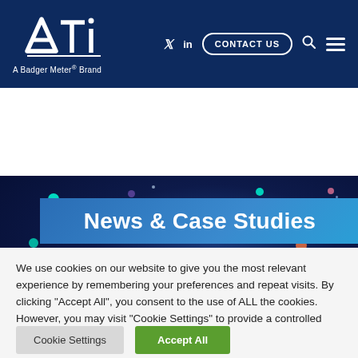ATI — A Badger Meter® Brand | Navigation bar with CONTACT US, search, and menu
[Figure (screenshot): Hero banner with dark navy background and colorful floating dots decoration]
News & Case Studies
We use cookies on our website to give you the most relevant experience by remembering your preferences and repeat visits. By clicking "Accept All", you consent to the use of ALL the cookies. However, you may visit "Cookie Settings" to provide a controlled consent.
Cookie Settings | Accept All